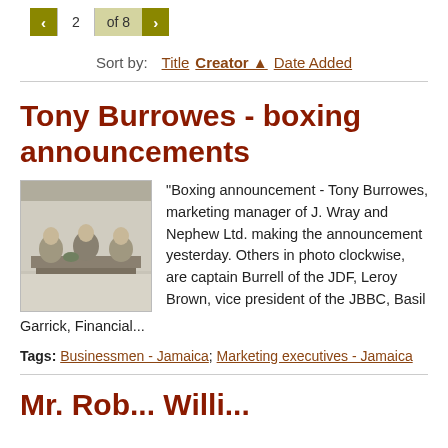2 of 8
Sort by: Title Creator ▲ Date Added
Tony Burrowes - boxing announcements
[Figure (photo): Black and white photograph of people seated around a table at a meeting or announcement event]
"Boxing announcement - Tony Burrowes, marketing manager of J. Wray and Nephew Ltd. making the announcement yesterday. Others in photo clockwise, are captain Burrell of the JDF, Leroy Brown, vice president of the JBBC, Basil Garrick, Financial...
Tags: Businessmen - Jamaica; Marketing executives - Jamaica
Mr. Rob... Willi...